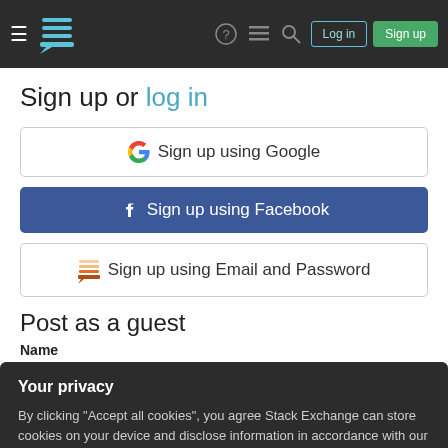Stack Exchange header navigation bar with hamburger menu, logo, help, inbox, search, Log in and Sign up buttons
Sign up or log in
[Figure (screenshot): Google Sign up button with Google G logo]
[Figure (screenshot): Facebook Sign up button with Facebook F logo, blue background]
[Figure (screenshot): Sign up using Email and Password button with Stack Exchange logo]
Post as a guest
Name
Your privacy
By clicking "Accept all cookies", you agree Stack Exchange can store cookies on your device and disclose information in accordance with our Cookie Policy.
Accept all cookies | Customize settings